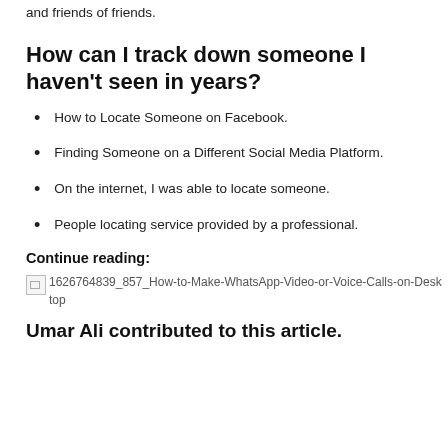and friends of friends.
How can I track down someone I haven't seen in years?
How to Locate Someone on Facebook.
Finding Someone on a Different Social Media Platform.
On the internet, I was able to locate someone.
People locating service provided by a professional.
Continue reading:
[Figure (photo): Broken image placeholder with alt text: 1626764839_857_How-to-Make-WhatsApp-Video-or-Voice-Calls-on-Desktop]
Umar Ali contributed to this article.